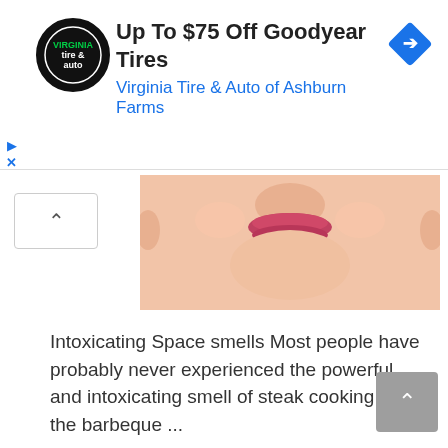[Figure (other): Advertisement banner: Virginia Tire & Auto logo (circular black badge), text 'Up To $75 Off Goodyear Tires' and 'Virginia Tire & Auto of Ashburn Farms', blue diamond navigation icon on right]
[Figure (photo): Cropped close-up photo of a person's lower face (nose, lips, chin area) against a light background]
Intoxicating Space smells Most people have probably never experienced the powerful and intoxicating smell of steak cooking on the barbeque ...
[Figure (other): Blue 'READ MORE' button]